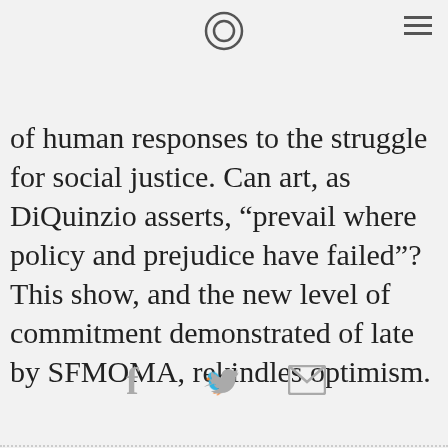of human responses to the struggle for social justice. Can art, as DiQuinzio asserts, “prevail where policy and prejudice have failed”? This show, and the new level of commitment demonstrated of late by SFMOMA, rekindles optimism.